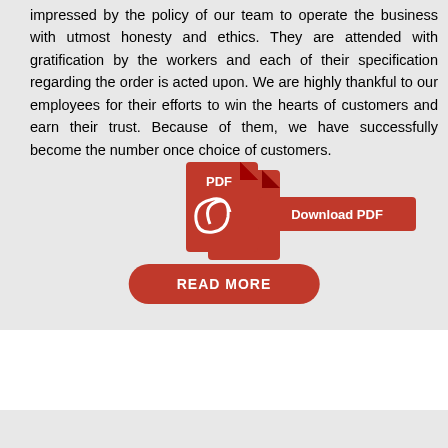impressed by the policy of our team to operate the business with utmost honesty and ethics. They are attended with gratification by the workers and each of their specification regarding the order is acted upon. We are highly thankful to our employees for their efforts to win the hearts of customers and earn their trust. Because of them, we have successfully become the number once choice of customers.
[Figure (other): PDF download icon with red document and 'Download PDF' label button]
[Figure (other): Red rounded rectangle button with white text reading 'READ MORE']